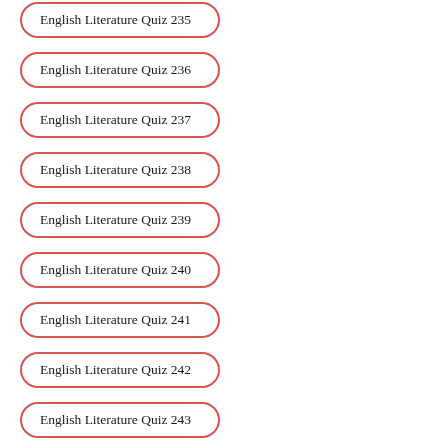English Literature Quiz 235
English Literature Quiz 236
English Literature Quiz 237
English Literature Quiz 238
English Literature Quiz 239
English Literature Quiz 240
English Literature Quiz 241
English Literature Quiz 242
English Literature Quiz 243